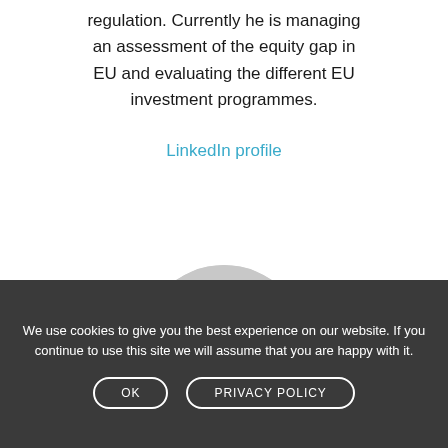regulation. Currently he is managing an assessment of the equity gap in EU and evaluating the different EU investment programmes.
LinkedIn profile
[Figure (photo): Black and white circular portrait photo of a bald man]
We use cookies to give you the best experience on our website. If you continue to use this site we will assume that you are happy with it.
OK    PRIVACY POLICY